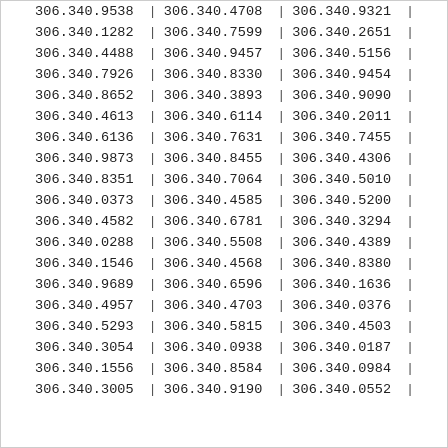| col1 | col2 | col3 |
| --- | --- | --- |
| 306.340.9538 | 306.340.4708 | 306.340.9321 |
| 306.340.1282 | 306.340.7599 | 306.340.2651 |
| 306.340.4488 | 306.340.9457 | 306.340.5156 |
| 306.340.7926 | 306.340.8330 | 306.340.9454 |
| 306.340.8652 | 306.340.3893 | 306.340.9090 |
| 306.340.4613 | 306.340.6114 | 306.340.2011 |
| 306.340.6136 | 306.340.7631 | 306.340.7455 |
| 306.340.9873 | 306.340.8455 | 306.340.4306 |
| 306.340.8351 | 306.340.7064 | 306.340.5010 |
| 306.340.0373 | 306.340.4585 | 306.340.5200 |
| 306.340.4582 | 306.340.6781 | 306.340.3294 |
| 306.340.0288 | 306.340.5508 | 306.340.4389 |
| 306.340.1546 | 306.340.4568 | 306.340.8380 |
| 306.340.9689 | 306.340.6596 | 306.340.1636 |
| 306.340.4957 | 306.340.4703 | 306.340.0376 |
| 306.340.5293 | 306.340.5815 | 306.340.4503 |
| 306.340.3054 | 306.340.0938 | 306.340.0187 |
| 306.340.1556 | 306.340.8584 | 306.340.0984 |
| 306.340.3005 | 306.340.9190 | 306.340.0552 |